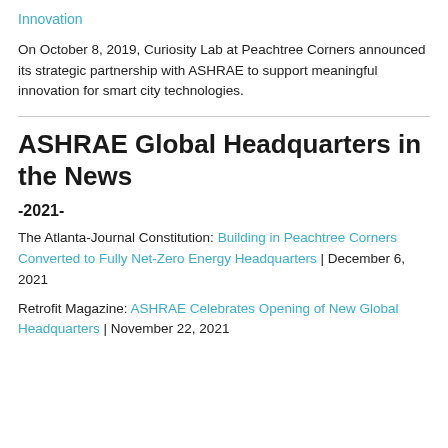Innovation
On October 8, 2019, Curiosity Lab at Peachtree Corners announced its strategic partnership with ASHRAE to support meaningful innovation for smart city technologies.
ASHRAE Global Headquarters in the News
-2021-
The Atlanta-Journal Constitution: Building in Peachtree Corners Converted to Fully Net-Zero Energy Headquarters | December 6, 2021
Retrofit Magazine: ASHRAE Celebrates Opening of New Global Headquarters | November 22, 2021